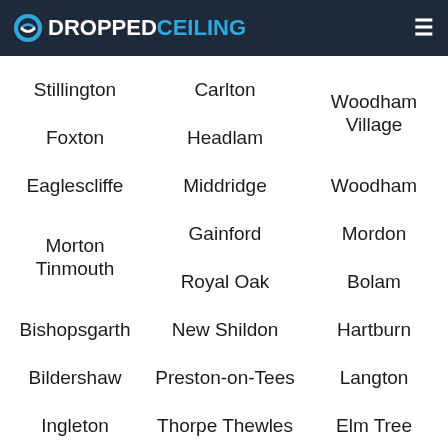DROPPEDCEILING
Stillington
Carlton
Woodham Village
Foxton
Headlam
Woodham
Eaglescliffe
Middridge
Mordon
Morton Tinmouth
Gainford
Bolam
Royal Oak
Hartburn
Bishopsgarth
New Shildon
Langton
Bildershaw
Preston-on-Tees
Elm Tree
Ingleton
Thorpe Thewles
Sunnydale